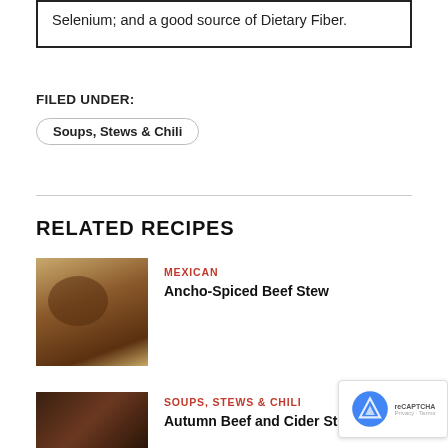Selenium; and a good source of Dietary Fiber.
FILED UNDER:
Soups, Stews & Chili
RELATED RECIPES
MEXICAN
Ancho-Spiced Beef Stew
[Figure (photo): Two bowls of Ancho-Spiced Beef Stew with lime garnish]
SOUPS, STEWS & CHILI
Autumn Beef and Cider Stew
[Figure (photo): Dark photo of Autumn Beef and Cider Stew]